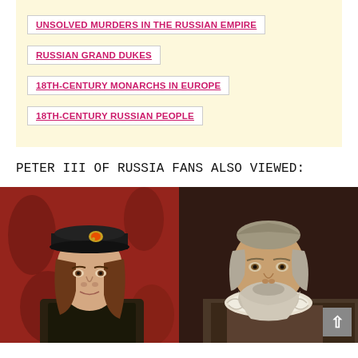UNSOLVED MURDERS IN THE RUSSIAN EMPIRE
RUSSIAN GRAND DUKES
18TH-CENTURY MONARCHS IN EUROPE
18TH-CENTURY RUSSIAN PEOPLE
PETER III OF RUSSIA FANS ALSO VIEWED:
[Figure (photo): Historical painted portrait of a medieval-looking nobleman with dark hair and black hat with jeweled brooch, against a red ornate background]
[Figure (photo): Historical painted portrait of an older bearded man with ruff collar, against a dark brown background]